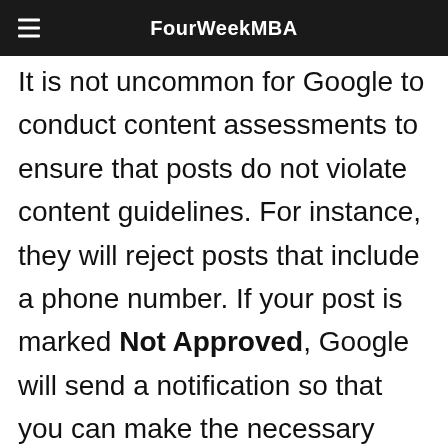FourWeekMBA
It is not uncommon for Google to conduct content assessments to ensure that posts do not violate content guidelines. For instance, they will reject posts that include a phone number. If your post is marked Not Approved, Google will send a notification so that you can make the necessary changes.